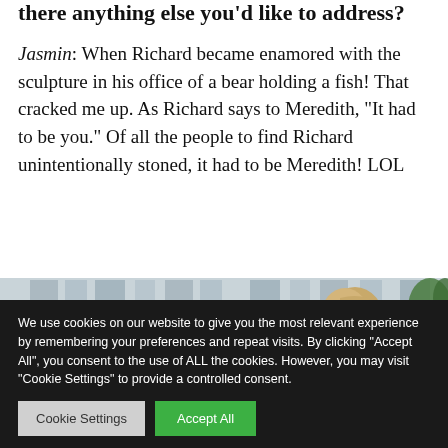there anything else you'd like to address?
Jasmin: When Richard became enamored with the sculpture in his office of a bear holding a fish! That cracked me up. As Richard says to Meredith, “It had to be you.” Of all the people to find Richard unintentionally stoned, it had to be Meredith! LOL
[Figure (photo): A group of people in an indoor setting, showing the backs and sides of several heads. A woman with blonde hair is visible on the right side, in profile.]
We use cookies on our website to give you the most relevant experience by remembering your preferences and repeat visits. By clicking “Accept All”, you consent to the use of ALL the cookies. However, you may visit "Cookie Settings" to provide a controlled consent.